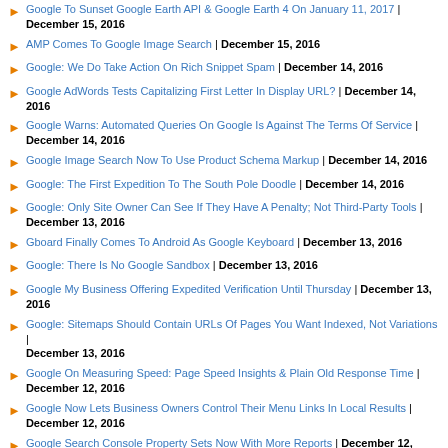Google To Sunset Google Earth API & Google Earth 4 On January 11, 2017 | December 15, 2016
AMP Comes To Google Image Search | December 15, 2016
Google: We Do Take Action On Rich Snippet Spam | December 14, 2016
Google AdWords Tests Capitalizing First Letter In Display URL? | December 14, 2016
Google Warns: Automated Queries On Google Is Against The Terms Of Service | December 14, 2016
Google Image Search Now To Use Product Schema Markup | December 14, 2016
Google: The First Expedition To The South Pole Doodle | December 14, 2016
Google: Only Site Owner Can See If They Have A Penalty; Not Third-Party Tools | December 13, 2016
Gboard Finally Comes To Android As Google Keyboard | December 13, 2016
Google: There Is No Google Sandbox | December 13, 2016
Google My Business Offering Expedited Verification Until Thursday | December 13, 2016
Google: Sitemaps Should Contain URLs Of Pages You Want Indexed, Not Variations | December 13, 2016
Google On Measuring Speed: Page Speed Insights & Plain Old Response Time | December 12, 2016
Google Now Lets Business Owners Control Their Menu Links In Local Results | December 12, 2016
Google Search Console Property Sets Now With More Reports | December 12, 2016